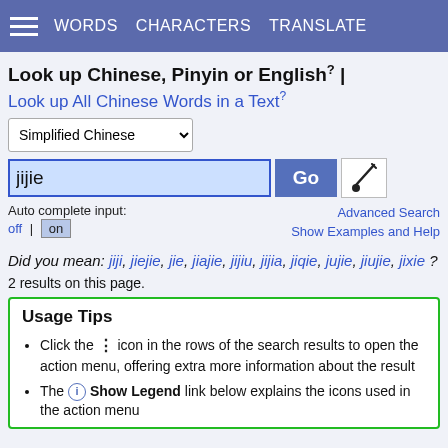WORDS  CHARACTERS  TRANSLATE
Look up Chinese, Pinyin or English? |
Look up All Chinese Words in a Text?
Simplified Chinese (dropdown)
jijie (search input) Go
Auto complete input: off | on   Advanced Search   Show Examples and Help
Did you mean: jiji, jiejie, jie, jiajie, jijiu, jijia, jiqie, jujie, jiujie, jixie ?
2 results on this page.
Usage Tips
Click the ⋮ icon in the rows of the search results to open the action menu, offering extra more information about the result
The ℹ Show Legend link below explains the icons used in the action menu